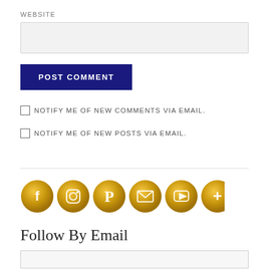WEBSITE
POST COMMENT
NOTIFY ME OF NEW COMMENTS VIA EMAIL.
NOTIFY ME OF NEW POSTS VIA EMAIL.
[Figure (illustration): Six gold glitter circular social media icon buttons: Facebook, Instagram, Pinterest, Email/Envelope, YouTube, and Google+]
Follow By Email